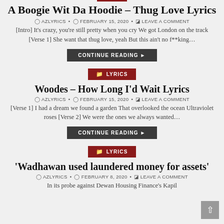A Boogie Wit Da Hoodie – Thug Love Lyrics
AZLYRICS • FEBRUARY 15, 2020 • LEAVE A COMMENT
[Intro] It's crazy, you're still pretty when you cry We got London on the track [Verse 1] She want that thug love, yeah But this ain't no f**king…
CONTINUE READING ▸
LYRICS
Woodes – How Long I'd Wait Lyrics
AZLYRICS • FEBRUARY 15, 2020 • LEAVE A COMMENT
[Verse 1] I had a dream we found a garden That overlooked the ocean Ultraviolet roses [Verse 2] We were the ones we always wanted…
CONTINUE READING ▸
LYRICS
'Wadhawan used laundered money for assets'
AZLYRICS • FEBRUARY 8, 2020 • LEAVE A COMMENT
In its probe against Dewan Housing Finance's Kapil